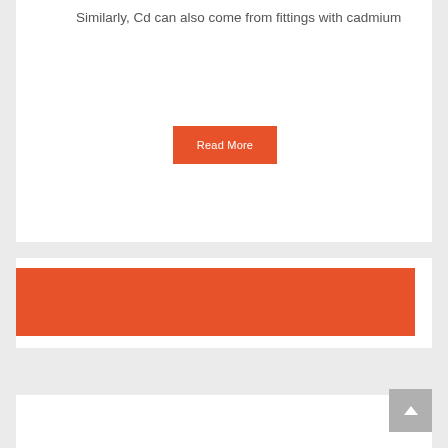Similarly, Cd can also come from fittings with cadmium
[Figure (other): Orange 'Read More' button]
[Figure (other): Orange rectangle banner block in middle card]
[Figure (other): White card at bottom of page]
[Figure (other): Gray scroll-to-top button with upward arrow]